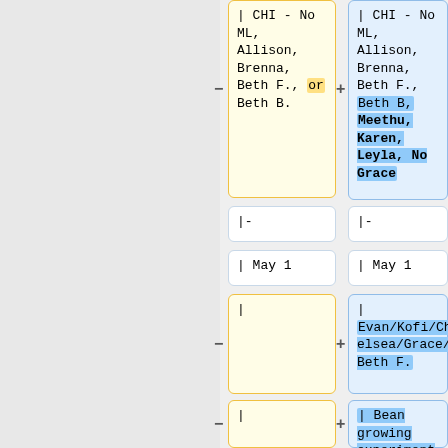| CHI - No ML, Allison, Brenna, Beth F., or Beth B.
| CHI - No ML, Allison, Brenna, Beth F., Beth B, Meethu, Karen, Leyla, No Grace
|-
|-
| May 1
| May 1
|
| Evan/Kofi/Chelsea/Grace/Beth F.
|
| Bean growing experiment prototype - sticky notes